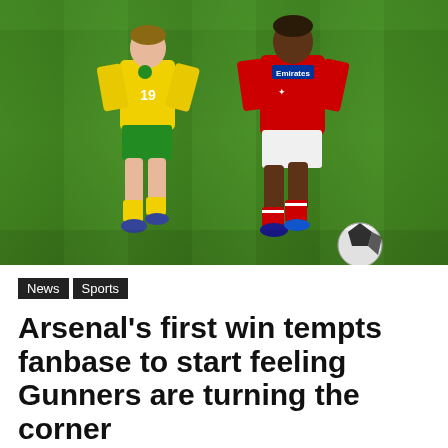[Figure (photo): Two football players running on a grass pitch — one in a yellow and green Norwich City kit with number 19, and one in a red Arsenal kit with Emirates sponsor. The Arsenal player controls a ball near the bottom right.]
News
Sports
Arsenal's first win tempts fanbase to start feeling Gunners are turning the corner
September 13, 2021   8